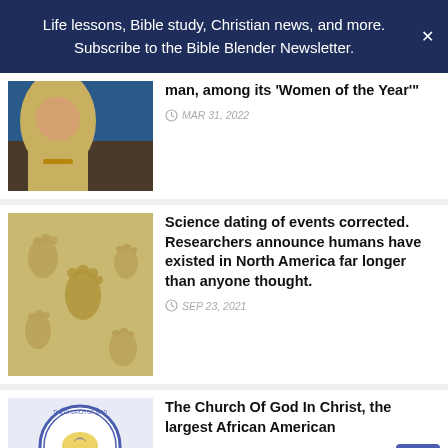Life lessons, Bible study, Christian news, and more. Subscribe to the Bible Blender Newsletter.
man, among its 'Women of the Year'"
Science dating of events corrected. Researchers announce humans have existed in North America far longer than anyone thought.
The Church Of God In Christ, the largest African American